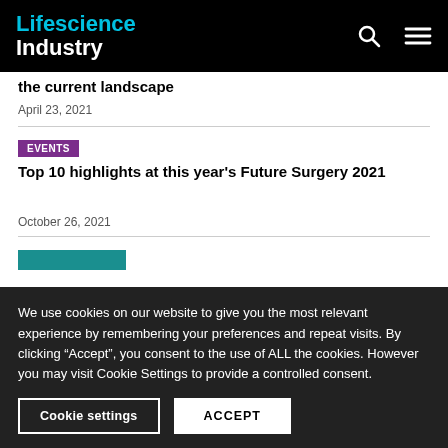Lifescience Industry
the current landscape
April 23, 2021
EVENTS
Top 10 highlights at this year's Future Surgery 2021
October 26, 2021
We use cookies on our website to give you the most relevant experience by remembering your preferences and repeat visits. By clicking “Accept”, you consent to the use of ALL the cookies. However you may visit Cookie Settings to provide a controlled consent.
Cookie settings | ACCEPT